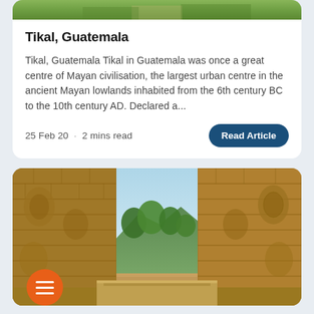[Figure (photo): Aerial or landscape photo of Tikal, Guatemala showing green jungle and ancient ruins — partially visible at top of page (cropped)]
Tikal, Guatemala
Tikal, Guatemala Tikal in Guatemala was once a great centre of Mayan civilisation, the largest urban centre in the ancient Mayan lowlands inhabited from the 6th century BC to the 10th century AD. Declared a...
25 Feb 20  ·  2 mins read
[Figure (photo): Photo of ancient Mayan stone ruins with carved reliefs on either side of a doorway/portal, with green trees and mountains visible through the opening, blue sky in background. An orange circular menu button is visible in the lower left corner.]